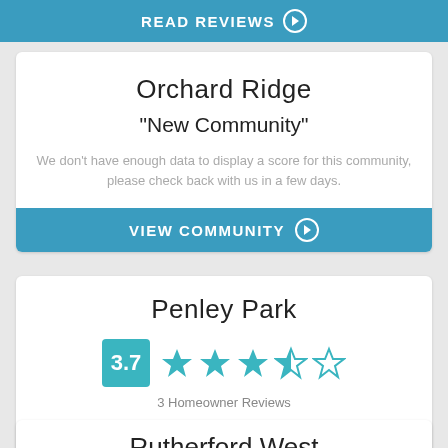READ REVIEWS
Orchard Ridge
"New Community"
We don't have enough data to display a score for this community, please check back with us in a few days.
VIEW COMMUNITY
Penley Park
3.7 — 3 Homeowner Reviews
READ REVIEWS
Rutherford West